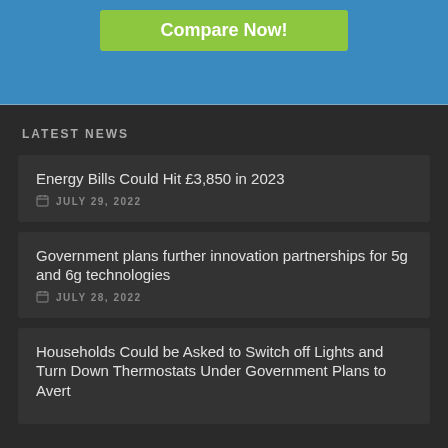[Figure (other): Blue banner section with green Compare Now! button]
LATEST NEWS
Energy Bills Could Hit £3,850 in 2023
JULY 29, 2022
Government plans further innovation partnerships for 5g and 6g technologies
JULY 28, 2022
Households Could be Asked to Switch off Lights and Turn Down Thermostats Under Government Plans to Avert